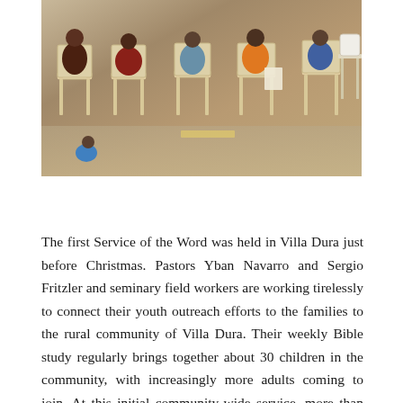[Figure (photo): Photograph of people seated in plastic chairs at an outdoor community gathering, viewed from behind/side. Adults and children visible, holding papers.]
The first Service of the Word was held in Villa Dura just before Christmas. Pastors Yban Navarro and Sergio Fritzler and seminary field workers are working tirelessly to connect their youth outreach efforts to the families to the rural community of Villa Dura. Their weekly Bible study regularly brings together about 30 children in the community, with increasingly more adults coming to join. At this initial community-wide service, more than 80